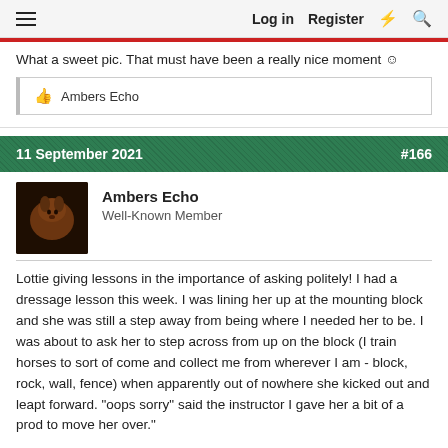Log in  Register
What a sweet pic. That must have been a really nice moment ☺
👍 Ambers Echo
11 September 2021  #166
Ambers Echo
Well-Known Member
Lottie giving lessons in the importance of asking politely! I had a dressage lesson this week. I was lining her up at the mounting block and she was still a step away from being where I needed her to be. I was about to ask her to step across from up on the block (I train horses to sort of come and collect me from wherever I am - block, rock, wall, fence) when apparently out of nowhere she kicked out and leapt forward. "oops sorry" said the instructor I gave her a bit of a prod to move her over."